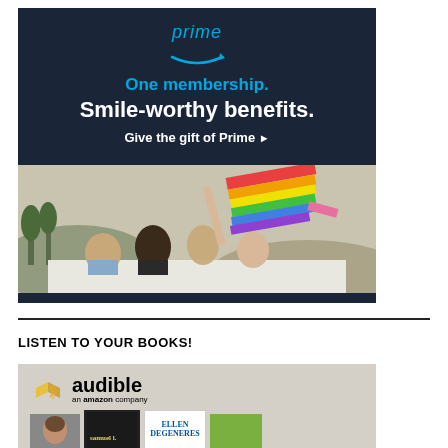[Figure (infographic): Amazon Prime advertisement with dark navy background. Shows 'prime' logo with smile arrow, text 'One membership. Smile-worthy benefits. Give the gift of Prime' followed by a photo of diverse young people in a car holding a rainbow flag outdoors.]
LISTEN TO YOUR BOOKS!
[Figure (infographic): Audible advertisement showing Audible logo (an amazon company) with book covers including Samuel L. Jackson, Ellen DeGeneres, and other titles.]